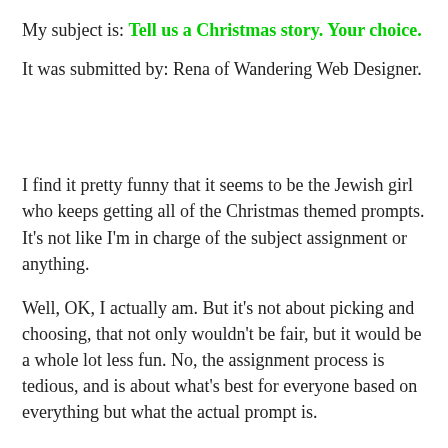My subject is: Tell us a Christmas story. Your choice.
It was submitted by: Rena of Wandering Web Designer.
I find it pretty funny that it seems to be the Jewish girl who keeps getting all of the Christmas themed prompts. It's not like I'm in charge of the subject assignment or anything.
Well, OK, I actually am. But it's not about picking and choosing, that not only wouldn't be fair, but it would be a whole lot less fun. No, the assignment process is tedious, and is about what's best for everyone based on everything but what the actual prompt is.